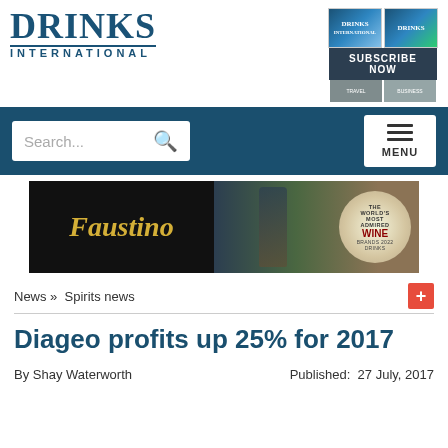[Figure (logo): Drinks International logo with large serif text 'Drinks' and 'INTERNATIONAL' in spaced capitals below]
[Figure (illustration): Subscribe Now advertisement box with two magazine covers and a dark banner reading SUBSCRIBE NOW]
[Figure (screenshot): Navigation bar with search box and menu button on dark teal background]
[Figure (photo): Faustino wine advertisement banner with black background, gold italic Faustino logo, wine bottle, and circular World's Most Admired Wine Brands 2022 badge]
News » Spirits news
Diageo profits up 25% for 2017
By Shay Waterworth
Published:  27 July, 2017